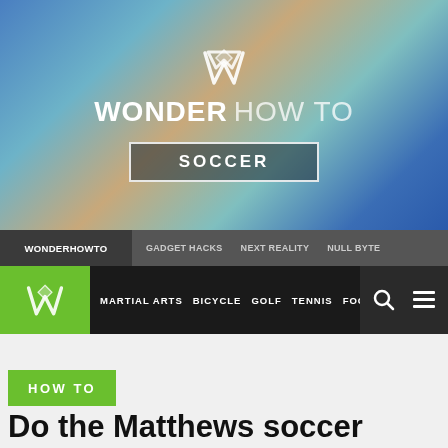[Figure (screenshot): Wonder How To website hero banner with gradient background (blue, teal, orange), W logo icon, WONDER HOW TO wordmark, and SOCCER badge label]
WONDERHOWTO   GADGET HACKS   NEXT REALITY   NULL BYTE
MARTIAL ARTS  BICYCLE  GOLF  TENNIS  FOOTBAL
HOW TO
Do the Matthews soccer